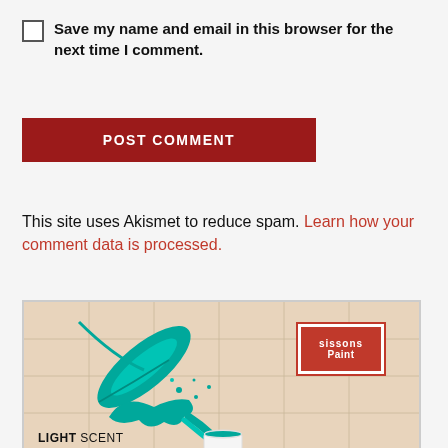Save my name and email in this browser for the next time I comment.
POST COMMENT
This site uses Akismet to reduce spam. Learn how your comment data is processed.
[Figure (illustration): Sissons Paint advertisement showing a teal feather with paint splash over a white paint can, with the Sissons Paint logo and text LIGHT SCENT at the bottom.]